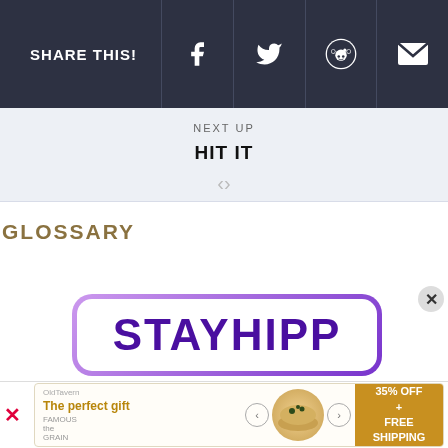SHARE THIS!
NEXT UP
HIT IT
GLOSSARY
[Figure (logo): STAYHIPP logo text in bold purple inside a rounded rectangle with purple gradient border]
[Figure (infographic): Advertisement banner: 'The perfect gift' with bowl of food image, navigation arrows, and '35% OFF + FREE SHIPPING' on gold background]